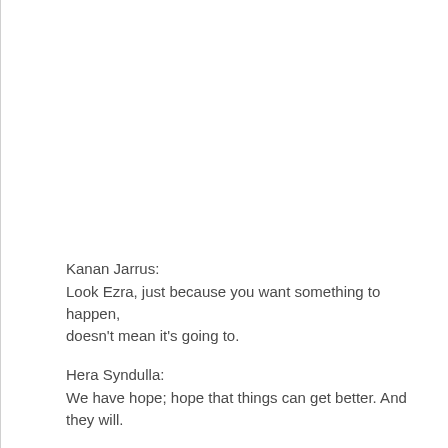Kanan Jarrus:
Look Ezra, just because you want something to happen, doesn't mean it's going to.
Hera Syndulla:
We have hope; hope that things can get better. And they will.
Minister Tua:
Ah, Grand Moff Tarkin, I am honored by your visit to Lothal!
Grand Moff Tarkin:
My visit is hardly an honor, Minister.